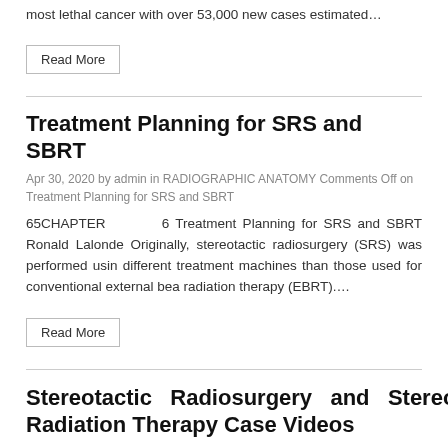most lethal cancer with over 53,000 new cases estimated…
Read More
Treatment Planning for SRS and SBRT
Apr 30, 2020 by admin in RADIOGRAPHIC ANATOMY Comments Off on Treatment Planning for SRS and SBRT
65CHAPTER 6 Treatment Planning for SRS and SBRT Ronald Lalonde Originally, stereotactic radiosurgery (SRS) was performed using different treatment machines than those used for conventional external beam radiation therapy (EBRT)….
Read More
Stereotactic Radiosurgery and Stereotactic Body Radiation Therapy Case Videos
Apr 30, 2020 by admin in RADIOGRAPHIC ANATOMY Comments Off on Stereotactic Radiosurgery and Stereotactic Body Radiation Therapy Case Videos